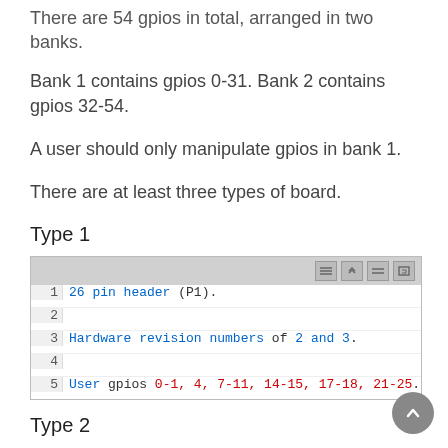There are 54 gpios in total, arranged in two banks.
Bank 1 contains gpios 0-31. Bank 2 contains gpios 32-54.
A user should only manipulate gpios in bank 1.
There are at least three types of board.
Type 1
[Figure (screenshot): Code block showing lines: 1: '26 pin header (P1).', 2: (empty), 3: 'Hardware revision numbers of 2 and 3.', 4: (empty), 5: 'User gpios 0-1, 4, 7-11, 14-15, 17-18, 21-25.']
Type 2